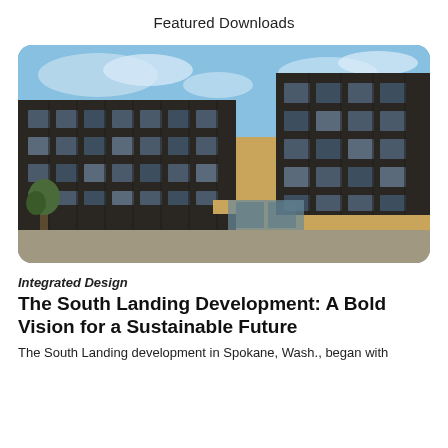Featured Downloads
[Figure (photo): Exterior photograph of the South Landing development in Spokane, Washington — modern multi-story buildings with dark vertical cladding and wood-toned accents, large windows, blue sky with clouds.]
Integrated Design
The South Landing Development: A Bold Vision for a Sustainable Future
The South Landing development in Spokane, Wash., began with